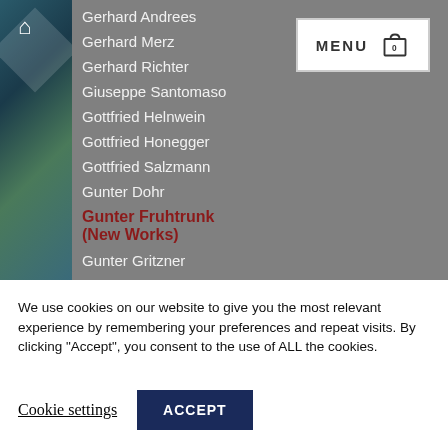Gerhard Andrees
Gerhard Merz
Gerhard Richter
Giuseppe Santomaso
Gottfried Helnwein
Gottfried Honegger
Gottfried Salzmann
Gunter Dohr
Gunter Fruhtrunk (New Works)
Gunter Gritzner
Günther Uecker
HAP Grieshaher
We use cookies on our website to give you the most relevant experience by remembering your preferences and repeat visits. By clicking “Accept”, you consent to the use of ALL the cookies.
Cookie settings
ACCEPT